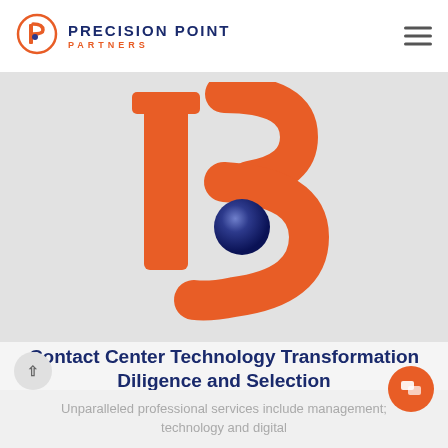PRECISION POINT PARTNERS
[Figure (logo): Large 3D orange Precision Point Partners logo mark (stylized P and B/3 shape with blue dot) on light gray background]
Contact Center Technology Transformation Diligence and Selection
Unparalleled professional services include management; technology and digital